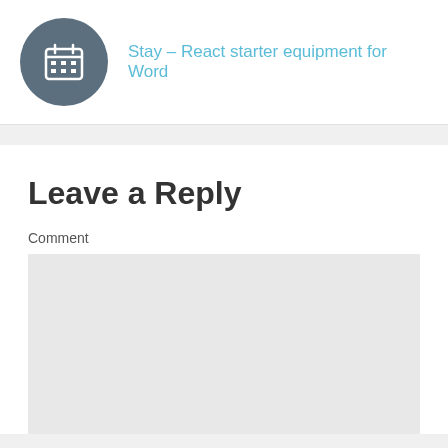[Figure (illustration): Circular dark blue-grey icon with a calendar/grid symbol in white]
Stay – React starter equipment for Word
Leave a Reply
Comment